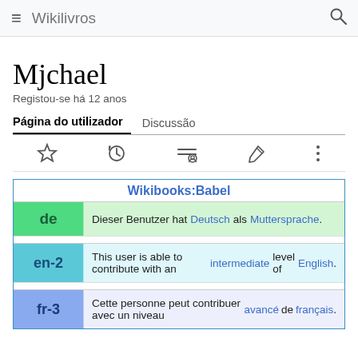≡  Wikilivros  🔍
Mjchael
Registou-se há 12 anos
Página do utilizador   Discussão
[Figure (other): Toolbar icons: star (watchlist), history clock, contributors, edit pencil, more (three dots)]
| Wikibooks:Babel |
| --- |
| de | Dieser Benutzer hat Deutsch als Muttersprache. |
| en-2 | This user is able to contribute with an intermediate level of English. |
| fr-3 | Cette personne peut contribuer avec un niveau avancé de français. |